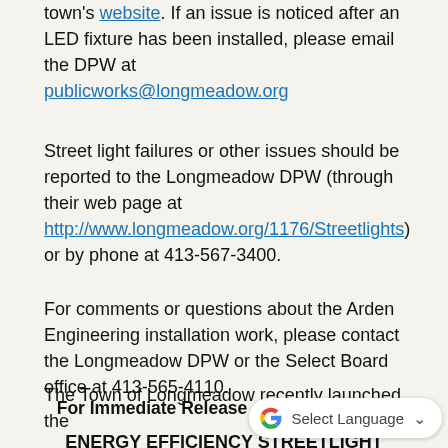town's website. If an issue is noticed after an LED fixture has been installed, please email the DPW at publicworks@longmeadow.org
Street light failures or other issues should be reported to the Longmeadow DPW (through their web page at http://www.longmeadow.org/1176/Streetlights) or by phone at 413-567-3400.
For comments or questions about the Arden Engineering installation work, please contact the Longmeadow DPW or the Select Board office at 413-565-4110.
For Immediate Release – March 26, 2020
ENERGY EFFICIENCY STREETLIGHT UPGRADE PROJECT COMMENCES IN LONGMEADOW
The Town of Longmeadow recently launched the